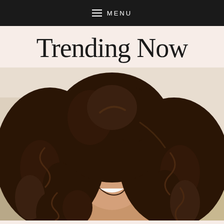≡ MENU
Trending Now
[Figure (photo): A smiling woman with voluminous dark curly hair, photographed indoors with a plant and home decor in the background]